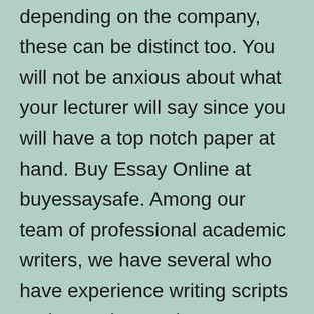depending on the company, these can be distinct too. You will not be anxious about what your lecturer will say since you will have a top notch paper at hand. Buy Essay Online at buyessaysafe. Among our team of professional academic writers, we have several who have experience writing scripts and speeches and can guarantee a fantastic presentation. Being able to write something, form an argument, and meet a deadline, are all critical life skills. In the body paragraphs generally three, you group your examples from the text by themes, and explain their roles. We stick to your specific instructions while writing an essay